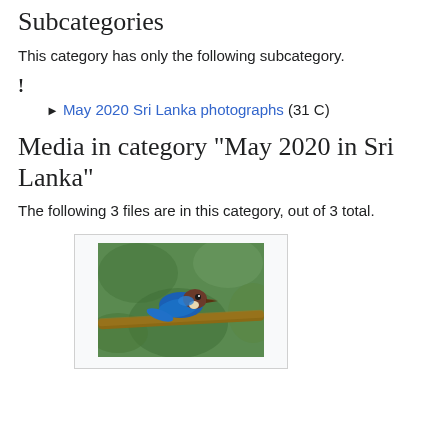Subcategories
This category has only the following subcategory.
!
► May 2020 Sri Lanka photographs (31 C)
Media in category "May 2020 in Sri Lanka"
The following 3 files are in this category, out of 3 total.
[Figure (photo): A blue and brown kingfisher bird perched on a branch, photographed in Sri Lanka in May 2020, shown in a thumbnail box with light gray background.]